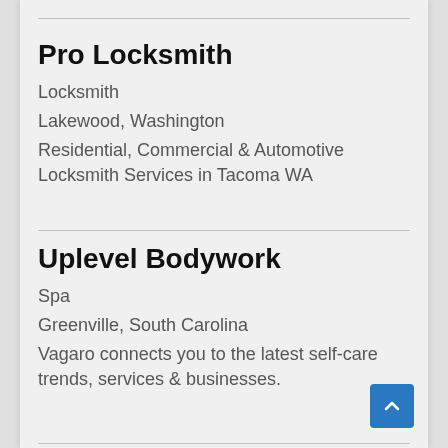Pro Locksmith
Locksmith
Lakewood, Washington
Residential, Commercial & Automotive Locksmith Services in Tacoma WA
Uplevel Bodywork
Spa
Greenville, South Carolina
Vagaro connects you to the latest self-care trends, services & businesses.